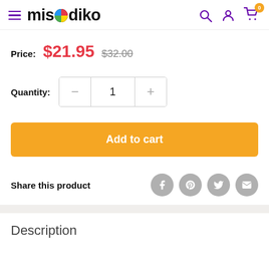misodiko
Price: $21.95  $32.00
Quantity: 1
Add to cart
Share this product
Description